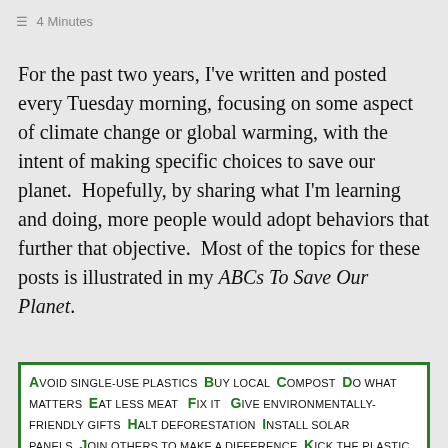≡ 4 Minutes
For the past two years, I've written and posted every Tuesday morning, focusing on some aspect of climate change or global warming, with the intent of making specific choices to save our planet.  Hopefully, by sharing what I'm learning and doing, more people would adopt behaviors that further that objective.  Most of the topics for these posts is illustrated in my ABCs To Save Our Planet.
[Figure (infographic): Green-bordered box listing ABCs to Save Our Planet: Avoid single-use plastics, Buy local, Compost, Do what matters, Eat less meat, Fix it, Give environmentally-friendly gifts, Halt deforestation, Install solar panels, Join others to make a difference, Kick the plastic straw]